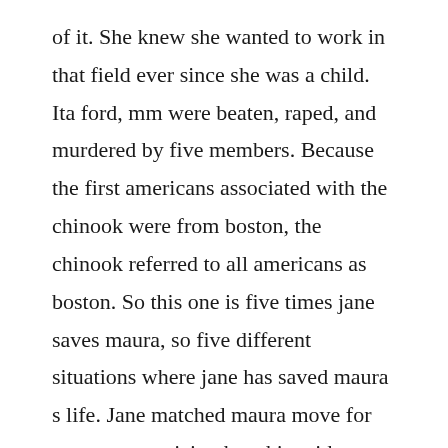of it. She knew she wanted to work in that field ever since she was a child. Ita ford, mm were beaten, raped, and murdered by five members. Because the first americans associated with the chinook were from boston, the chinook referred to all americans as boston. So this one is five times jane saves maura, so five different situations where jane has saved maura s life. Jane matched maura move for move, memorizing her skin with kisses. Download for offline reading, highlight, bookmark or take notes while you read lultima vittima. Add to library 11